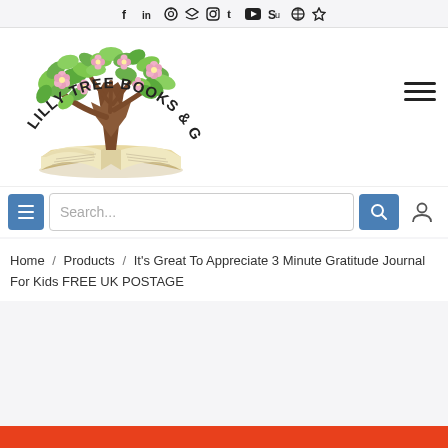Social media icons: f (Facebook), in (LinkedIn), Pinterest, Twitter, Instagram, Tumblr, YouTube, StumbleUpon, Dribbble, Skype
[Figure (logo): Lilly Tree Books & Gifts logo — a stylized tree with green leaves and pink flowers growing from an open book, with curved text 'Lilly Tree Books & Gifts' arching above]
Search...
Home / Products / It's Great To Appreciate 3 Minute Gratitude Journal For Kids FREE UK POSTAGE